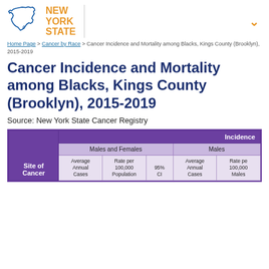[Figure (logo): New York State logo with outline of NY state in blue and 'NEW YORK STATE' in orange text]
Home Page > Cancer by Race > Cancer Incidence and Mortality among Blacks, Kings County (Brooklyn), 2015-2019
Cancer Incidence and Mortality among Blacks, Kings County (Brooklyn), 2015-2019
Source: New York State Cancer Registry
| Site of Cancer | Incidence - Males and Females - Average Annual Cases | Incidence - Males and Females - Rate per 100,000 Population | Incidence - Males and Females - 95% CI | Incidence - Males - Average Annual Cases | Incidence - Males - Rate per 100,000 Males |
| --- | --- | --- | --- | --- | --- |